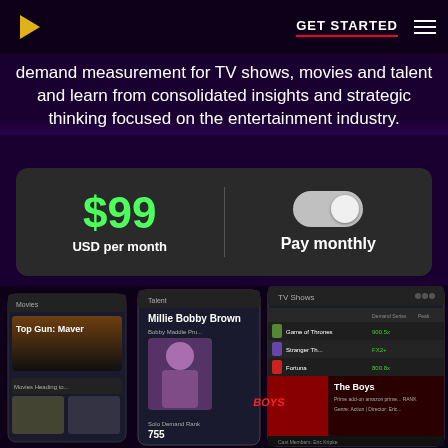GET STARTED [navigation bar with logo and hamburger menu]
demand measurement for TV shows, movies and talent and learn from consolidated insights and strategic thinking focused on the entertainment industry.
[Figure (screenshot): Pricing card showing $99 USD per month with a toggle switch for Pay monthly option on dark background]
[Figure (screenshot): App screenshots showing TV Shows, Talent (Millie Bobby Brown), and Movies (Top Gun: Maverick, The Boys) dashboard interfaces]